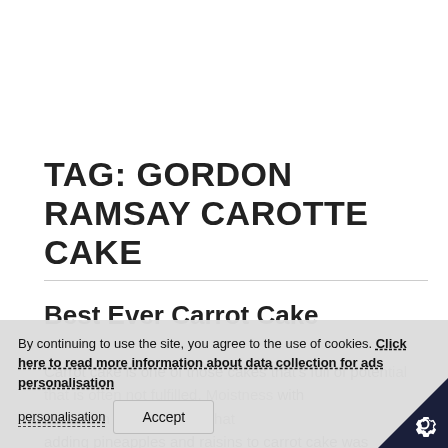TAG: GORDON RAMSAY CAROTTE CAKE
Best Ever Carrot Cake
Carrot cake is one of those cakes that's full of potential that is often not fulfilled. Moistness with perfectly spiced cream cheese frosting. I decided that adding pineapples and raisins to carrot cake was necessary? No one sits around eating pineappl
By continuing to use the site, you agree to the use of cookies. Click here to read more information about data collection for ads personalisation
Accept